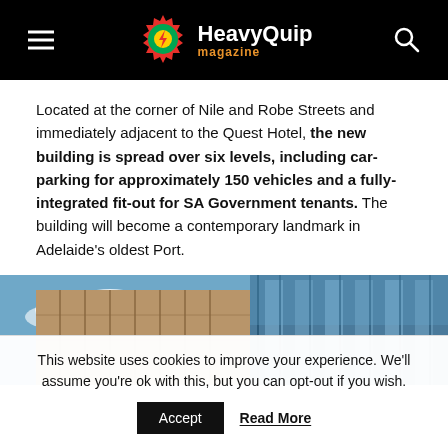HeavyQuip magazine
Located at the corner of Nile and Robe Streets and immediately adjacent to the Quest Hotel, the new building is spread over six levels, including car-parking for approximately 150 vehicles and a fully-integrated fit-out for SA Government tenants. The building will become a contemporary landmark in Adelaide’s oldest Port.
[Figure (photo): Exterior photograph of a modern multi-storey building with glass and bronze cladding against a blue sky with clouds, viewed from below at an angle.]
This website uses cookies to improve your experience. We'll assume you're ok with this, but you can opt-out if you wish. Accept Read More